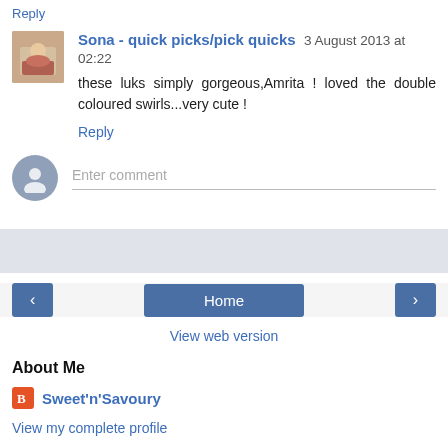Reply
Sona - quick picks/pick quicks  3 August 2013 at 02:22
these luks simply gorgeous,Amrita ! loved the double coloured swirls...very cute !
Reply
Enter comment
Home
View web version
About Me
Sweet'n'Savoury
View my complete profile